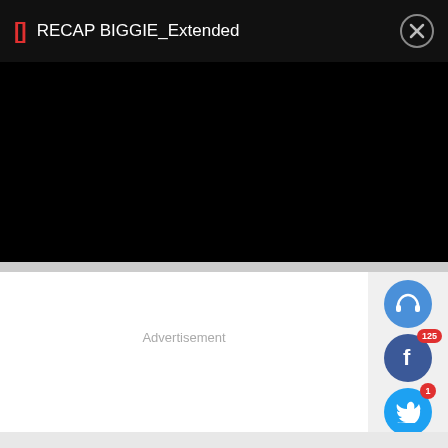[Figure (screenshot): Video player title bar with bracket icon, title 'RECAP BIGGIE_Extended', and close button on black background]
[Figure (screenshot): Black video player area]
Advertisement
[Figure (infographic): Sidebar social sharing icons: headphones (blue), Facebook with badge 125 (blue), Twitter with badge 1 (blue), WhatsApp (green), laughing emoji (yellow/gold), red speech bubble icon, and a share icon partially visible]